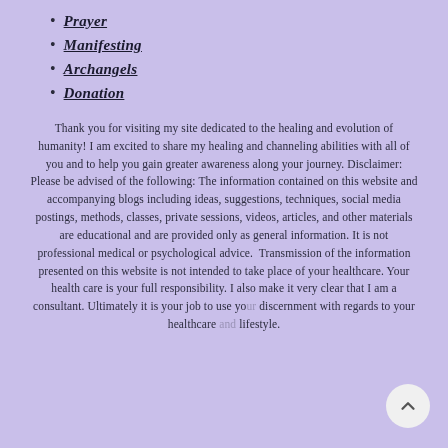Prayer
Manifesting
Archangels
Donation
Thank you for visiting my site dedicated to the healing and evolution of humanity! I am excited to share my healing and channeling abilities with all of you and to help you gain greater awareness along your journey. Disclaimer: Please be advised of the following: The information contained on this website and accompanying blogs including ideas, suggestions, techniques, social media postings, methods, classes, private sessions, videos, articles, and other materials are educational and are provided only as general information. It is not professional medical or psychological advice. Transmission of the information presented on this website is not intended to take place of your healthcare. Your health care is your full responsibility. I also make it very clear that I am a consultant. Ultimately it is your job to use your discernment with regards to your healthcare and lifestyle.